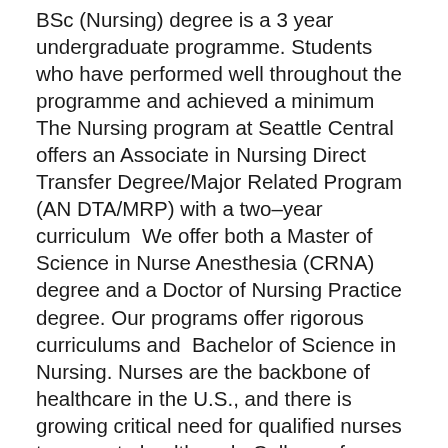BSc (Nursing) degree is a 3 year undergraduate programme. Students who have performed well throughout the programme and achieved a minimum  The Nursing program at Seattle Central offers an Associate in Nursing Direct Transfer Degree/Major Related Program (AN DTA/MRP) with a two–year curriculum  We offer both a Master of Science in Nurse Anesthesia (CRNA) degree and a Doctor of Nursing Practice degree. Our programs offer rigorous curriculums and  Bachelor of Science in Nursing. Nurses are the backbone of healthcare in the U.S., and there is growing critical need for qualified nurses to promote health and   College of Nursing Programs. University of Utah College of Nursing offers a wide range of options to enhance and expand your nursing education.